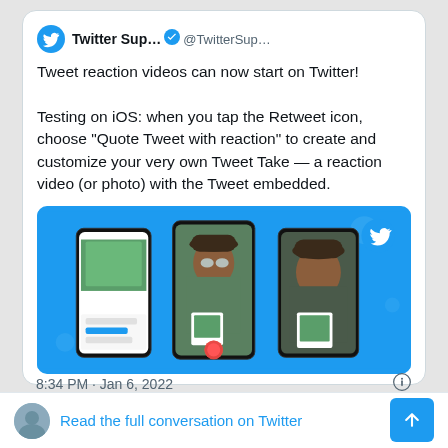[Figure (screenshot): A Twitter/social media screenshot showing a tweet from Twitter Support (@TwitterSup...) with text about Tweet reaction videos and an embedded promotional image showing three mobile phones demonstrating the feature on a blue background.]
Twitter Sup... @TwitterSup... Tweet reaction videos can now start on Twitter!

Testing on iOS: when you tap the Retweet icon, choose “Quote Tweet with reaction” to create and customize your very own Tweet Take — a reaction video (or photo) with the Tweet embedded.
8:34 PM · Jan 6, 2022
Read the full conversation on Twitter